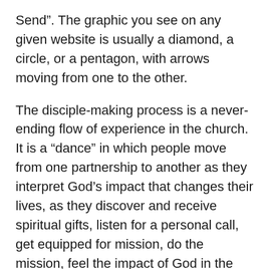Send”. The graphic you see on any given website is usually a diamond, a circle, or a pentagon, with arrows moving from one to the other.
The disciple-making process is a never-ending flow of experience in the church. It is a “dance” in which people move from one partnership to another as they interpret God’s impact that changes their lives, as they discover and receive spiritual gifts, listen for a personal call, get equipped for mission, do the mission, feel the impact of God in the midst of the mission field, and then start the process all over again. Discipleship is like a dance, in which we are moving in and out of various partnerships, learning new dance steps, and reaching out to draw new